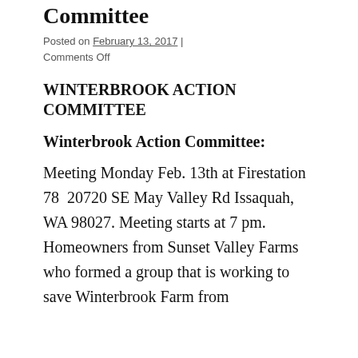Committee
Posted on February 13, 2017 | Comments Off
WINTERBROOK ACTION COMMITTEE
Winterbrook Action Committee:
Meeting Monday Feb. 13th at Firestation 78  20720 SE May Valley Rd Issaquah, WA 98027. Meeting starts at 7 pm. Homeowners from Sunset Valley Farms who formed a group that is working to save Winterbrook Farm from